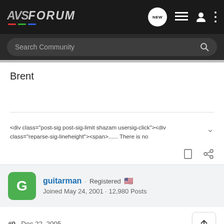AVS FORUM
Search Community
Brent
​<div class="post-sig post-sig-limit shazam usersig-click"><div class="reparse-sig-lineheight"><span>...... There is no
guitarman · Registered
Joined May 24, 2001 · 12,980 Posts
#9 · Dec 22, 2005
​I ran so
[Figure (screenshot): NAD advertisement banner: IT'S SIMPLY A MATTER OF TIME. Introducing the new NAD Masters M33 Amplifier. DISCOVER]